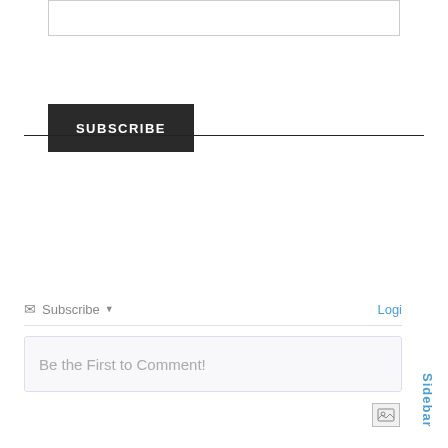[Figure (screenshot): Empty text input box at the top of the page]
SUBSCRIBE
Subscribe  Login
Be the First to Comment!
[Figure (screenshot): Image upload icon button]